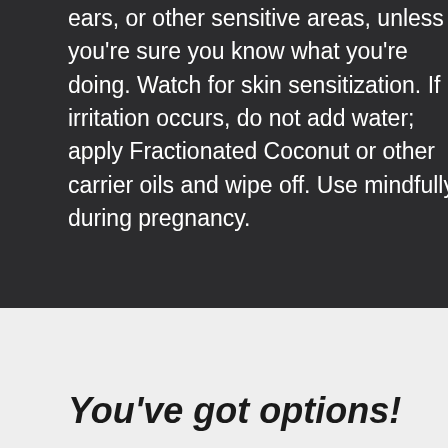ears, or other sensitive areas, unless you're sure you know what you're doing. Watch for skin sensitization. If irritation occurs, do not add water; apply Fractionated Coconut or other carrier oils and wipe off. Use mindfully during pregnancy.
You've got options!